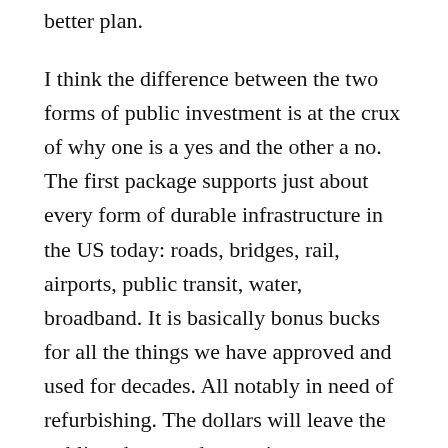better plan.
I think the difference between the two forms of public investment is at the crux of why one is a yes and the other a no. The first package supports just about every form of durable infrastructure in the US today: roads, bridges, rail, airports, public transit, water, broadband. It is basically bonus bucks for all the things we have approved and used for decades. All notably in need of refurbishing. The dollars will leave the public sphere, and pay private contractors to pave the roads, install broadband, and beef up the power grid.
The second bill is not about durables. The second proposal is centered around the work that is done to provide public services such as child care